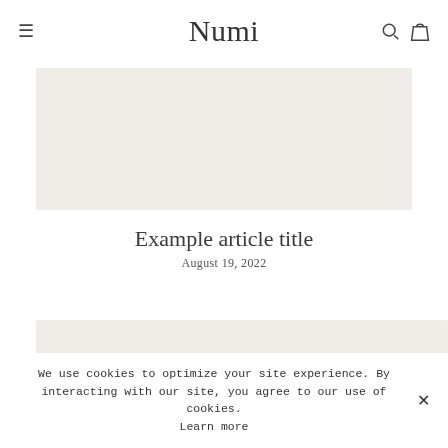≡  Numi  🔍 🛍
[Figure (photo): Light beige/cream placeholder image rectangle for article hero image]
Example article title
August 19, 2022
[Figure (photo): Light beige/cream placeholder image rectangle, partially visible second article image]
We use cookies to optimize your site experience. By interacting with our site, you agree to our use of cookies. Learn more